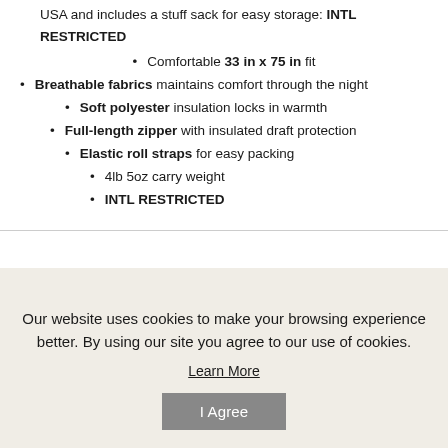USA and includes a stuff sack for easy storage: INTL RESTRICTED
Comfortable 33 in x 75 in fit
Breathable fabrics maintains comfort through the night
Soft polyester insulation locks in warmth
Full-length zipper with insulated draft protection
Elastic roll straps for easy packing
4lb 5oz carry weight
INTL RESTRICTED
Our website uses cookies to make your browsing experience better. By using our site you agree to our use of cookies.
Learn More
I Agree